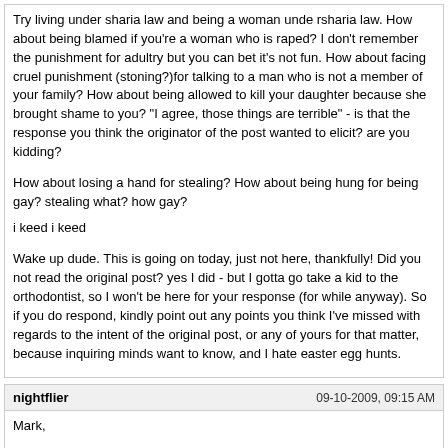Try living under sharia law and being a woman unde rsharia law. How about being blamed if you're a woman who is raped? I don't remember the punishment for adultry but you can bet it's not fun. How about facing cruel punishment (stoning?)for talking to a man who is not a member of your family? How about being allowed to kill your daughter because she brought shame to you? "I agree, those things are terrible" - is that the response you think the originator of the post wanted to elicit? are you kidding?

How about losing a hand for stealing? How about being hung for being gay? stealing what? how gay?

i keed i keed

Wake up dude. This is going on today, just not here, thankfully! Did you not read the original post? yes I did - but I gotta go take a kid to the orthodontist, so I won't be here for your response (for while anyway). So if you do respond, kindly point out any points you think I've missed with regards to the intent of the original post, or any of yours for that matter, because inquiring minds want to know, and I hate easter egg hunts.
nightflier	09-10-2009, 09:15 AM
Mark,

I think you're missing the points being made:

1. Islam 1500 years ago is not the Islam of today. The religion and people under it have changed dramatically. There have been times since Mohammad's time where Islam was more tolerant and times when it was more conservative. But to think for even a minute that Europe under the Inquisition was anything better than life in the Middle East at the same time is absolutely ludicrous. Likewise, the violence against Islam during the crusades as well as the rule under the crusaders was far more violent and oppressive than under Islam. That is historical fact.